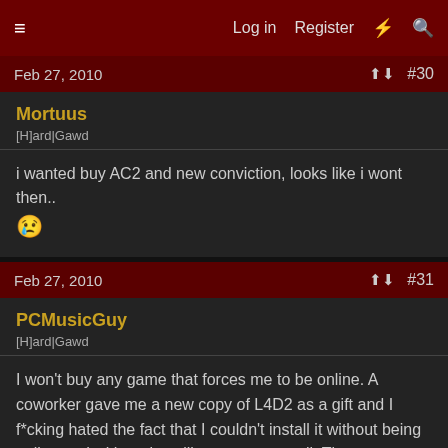≡  Log in  Register  ⚡  🔍
Feb 27, 2010  #30
Mortuus
[H]ard|Gawd
i wanted buy AC2 and new conviction, looks like i wont then.. 😢
Feb 27, 2010  #31
PCMusicGuy
[H]ard|Gawd
I won't buy any game that forces me to be online. A coworker gave me a new copy of L4D2 as a gift and I f*cking hated the fact that I couldn't install it without being online and without installing steam as well. The game along with all remnants of steam will be removed from my system as soon as I actually